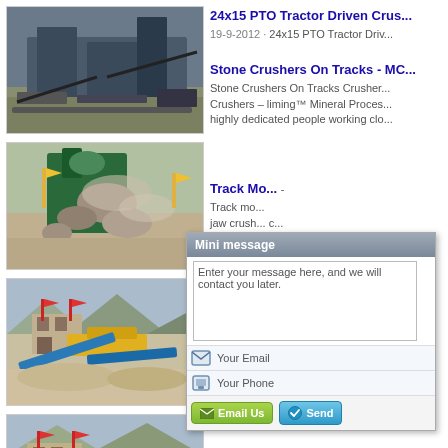[Figure (photo): Industrial stone crusher/mining equipment on tracks outdoors]
24x15 PTO Tractor Driven Crus...
19-9-2012 · 24x15 PTO Tractor Driv...
[Figure (photo): Stone crusher machine working outdoors, crushing rocks with dust]
Stone Crushers On Tracks - MC...
Stone Crushers On Tracks Crusher... Crushers – liming™ Mineral Proces... highly dedicated people working clo...
[Figure (photo): Track mounted stone crusher facility outdoors]
Track Mo... -
Track mo... jaw crush... crushers ... online ch...
[Figure (screenshot): Mini message popup dialog with text area, email and phone fields, and Email Us / Send buttons]
[Figure (photo): Stone crusher facility building outdoors (partial)]
Stone C... ...cr